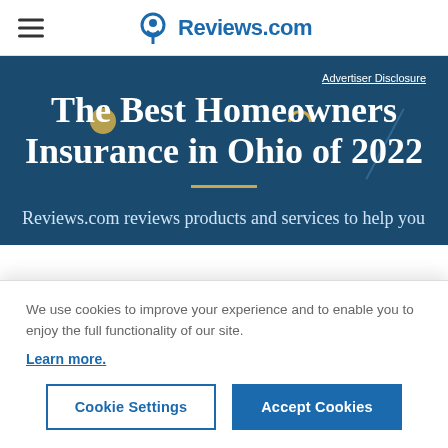Reviews.com
The Best Homeowners Insurance in Ohio of 2022
Advertiser Disclosure
Reviews.com reviews products and services to help you
We use cookies to improve your experience and to enable you to enjoy the full functionality of our site. Learn more.
Cookie Settings
Accept Cookies